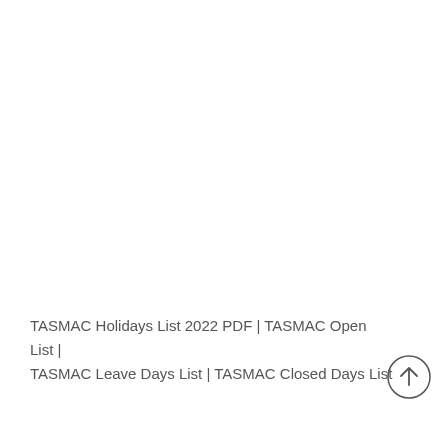TASMAC Holidays List 2022 PDF | TASMAC Open List | TASMAC Leave Days List | TASMAC Closed Days List
[Figure (other): Circular scroll-to-top button with an upward arrow icon, positioned at bottom-right of the page]